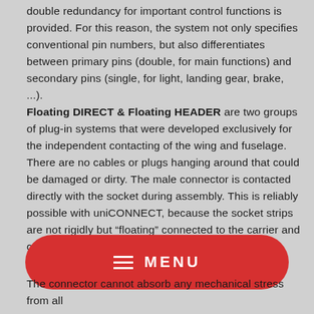double redundancy for important control functions is provided. For this reason, the system not only specifies conventional pin numbers, but also differentiates between primary pins (double, for main functions) and secondary pins (single, for light, landing gear, brake, ...).
Floating DIRECT & Floating HEADER are two groups of plug-in systems that were developed exclusively for the independent contacting of the wing and fuselage. There are no cables or plugs hanging around that could be damaged or dirty. The male connector is contacted directly with the socket during assembly. This is reliably possible with uniCONNECT, because the socket strips are not rigidly but "floating" connected to the carrier and can therefore move with slight movements and
[Figure (other): Red pill-shaped MENU button with hamburger icon lines and MENU text in white]
The connector cannot absorb any mechanical stress from all